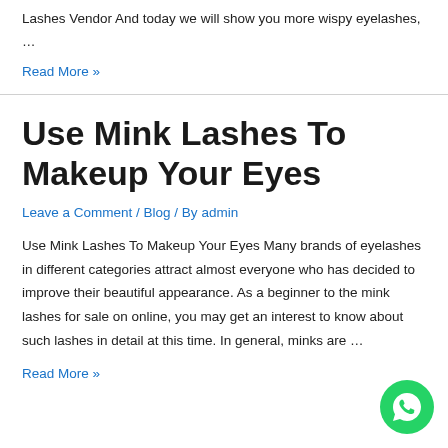Lashes Vendor And today we will show you more wispy eyelashes, …
Read More »
Use Mink Lashes To Makeup Your Eyes
Leave a Comment / Blog / By admin
Use Mink Lashes To Makeup Your Eyes Many brands of eyelashes in different categories attract almost everyone who has decided to improve their beautiful appearance. As a beginner to the mink lashes for sale on online, you may get an interest to know about such lashes in detail at this time. In general, minks are …
Read More »
[Figure (logo): WhatsApp contact button, green circle with white phone handset icon]